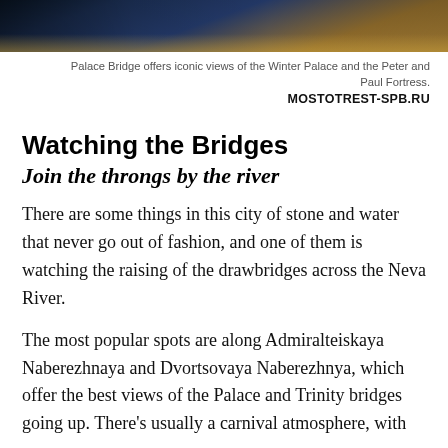[Figure (photo): Night cityscape photo strip showing illuminated bridge and buildings reflected in water, with warm golden tones]
Palace Bridge offers iconic views of the Winter Palace and the Peter and Paul Fortress.
MOSTOTREST-SPB.RU
Watching the Bridges
Join the throngs by the river
There are some things in this city of stone and water that never go out of fashion, and one of them is watching the raising of the drawbridges across the Neva River.
The most popular spots are along Admiralteiskaya Naberezhnaya and Dvortsovaya Naberezhnya, which offer the best views of the Palace and Trinity bridges going up. There's usually a carnival atmosphere, with